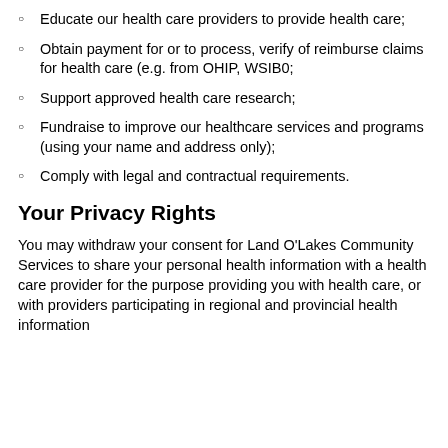Educate our health care providers to provide health care;
Obtain payment for or to process, verify of reimburse claims for health care (e.g. from OHIP, WSIB0;
Support approved health care research;
Fundraise to improve our healthcare services and programs (using your name and address only);
Comply with legal and contractual requirements.
Your Privacy Rights
You may withdraw your consent for Land O'Lakes Community Services to share your personal health information with a health care provider for the purpose providing you with health care, or with providers participating in regional and provincial health information